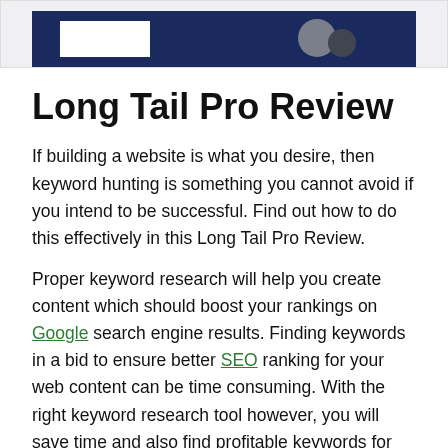[Figure (screenshot): Partial screenshot of a dark navy blue banner or tool interface with a white rectangle element and grey circular shapes on the right, on a light grey background.]
Long Tail Pro Review
If building a website is what you desire, then keyword hunting is something you cannot avoid if you intend to be successful. Find out how to do this effectively in this Long Tail Pro Review.
Proper keyword research will help you create content which should boost your rankings on Google search engine results. Finding keywords in a bid to ensure better SEO ranking for your web content can be time consuming. With the right keyword research tool however, you will save time and also find profitable keywords for